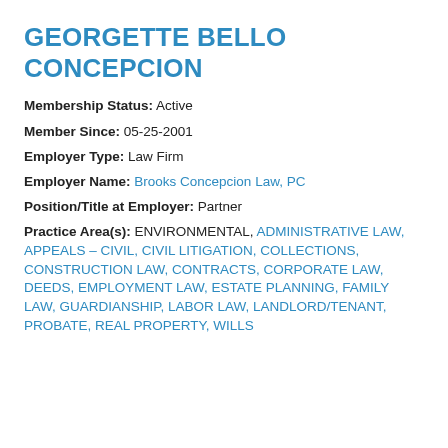GEORGETTE BELLO CONCEPCION
Membership Status: Active
Member Since: 05-25-2001
Employer Type: Law Firm
Employer Name: Brooks Concepcion Law, PC
Position/Title at Employer: Partner
Practice Area(s): ENVIRONMENTAL, ADMINISTRATIVE LAW, APPEALS – CIVIL, CIVIL LITIGATION, COLLECTIONS, CONSTRUCTION LAW, CONTRACTS, CORPORATE LAW, DEEDS, EMPLOYMENT LAW, ESTATE PLANNING, FAMILY LAW, GUARDIANSHIP, LABOR LAW, LANDLORD/TENANT, PROBATE, REAL PROPERTY, WILLS